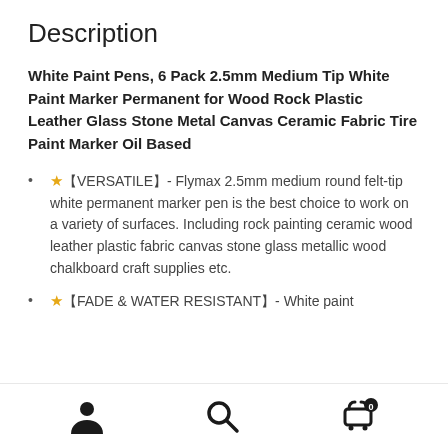Description
White Paint Pens, 6 Pack 2.5mm Medium Tip White Paint Marker Permanent for Wood Rock Plastic Leather Glass Stone Metal Canvas Ceramic Fabric Tire Paint Marker Oil Based
★【VERSATILE】- Flymax 2.5mm medium round felt-tip white permanent marker pen is the best choice to work on a variety of surfaces. Including rock painting ceramic wood leather plastic fabric canvas stone glass metallic wood chalkboard craft supplies etc.
★【FADE & WATER RESISTANT】- White paint